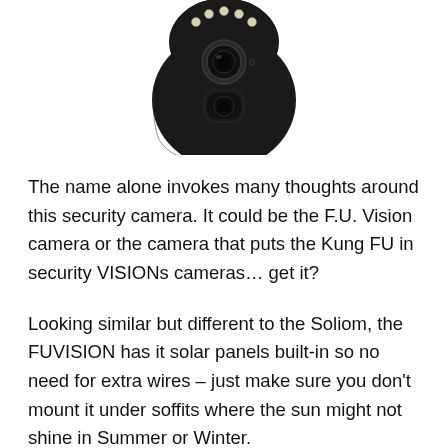[Figure (photo): Black round security camera with LED lights on top and a lens in the center, viewed from the front, partially cropped at the top of the page.]
The name alone invokes many thoughts around this security camera. It could be the F.U. Vision camera or the camera that puts the Kung FU in security VISIONs cameras… get it?
Looking similar but different to the Soliom, the FUVISION has it solar panels built-in so no need for extra wires – just make sure you don't mount it under soffits where the sun might not shine in Summer or Winter.